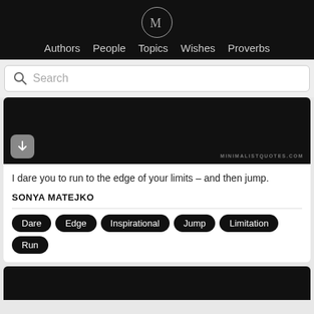M — Authors  People  Topics  Wishes  Proverbs
Search
[Figure (screenshot): Black image area with a download button and watermark text MINIMALISTQUOTES.COM]
I dare you to run to the edge of your limits – and then jump.
SONYA MATEJKO
Dare
Edge
Inspirational
Jump
Limitation
Run
[Figure (screenshot): Partially visible black image area for a second quote card]